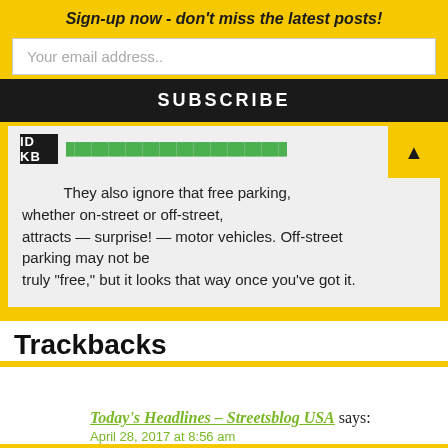Sign-up now - don't miss the latest posts!
Your email address..
SUBSCRIBE
They also ignore that free parking, whether on-street or off-street, attracts — surprise! — motor vehicles. Off-street parking may not be truly “free,” but it looks that way once you’ve got it.
Trackbacks
Today's Headlines – Streetsblog USA says:
April 28, 2017 at 8:56 am